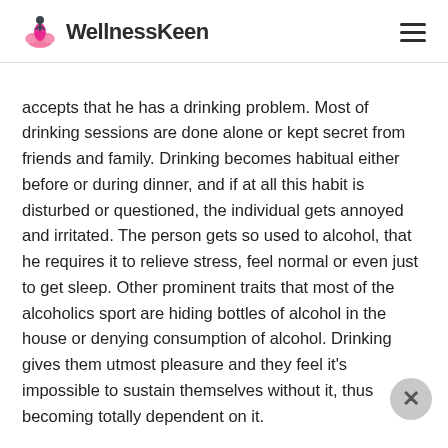WellnessKeen
accepts that he has a drinking problem. Most of drinking sessions are done alone or kept secret from friends and family. Drinking becomes habitual either before or during dinner, and if at all this habit is disturbed or questioned, the individual gets annoyed and irritated. The person gets so used to alcohol, that he requires it to relieve stress, feel normal or even just to get sleep. Other prominent traits that most of the alcoholics sport are hiding bottles of alcohol in the house or denying consumption of alcohol. Drinking gives them utmost pleasure and they feel it's impossible to sustain themselves without it, thus becoming totally dependent on it.